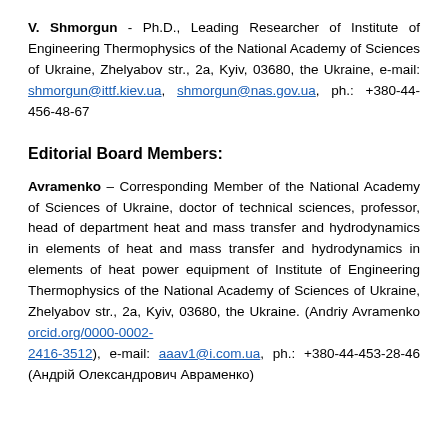V. Shmorgun - Ph.D., Leading Researcher of Institute of Engineering Thermophysics of the National Academy of Sciences of Ukraine, Zhelyabov str., 2a, Kyiv, 03680, the Ukraine, e-mail: shmorgun@ittf.kiev.ua, shmorgun@nas.gov.ua, ph.: +380-44-456-48-67
Editorial Board Members:
Avramenko – Corresponding Member of the National Academy of Sciences of Ukraine, doctor of technical sciences, professor, head of department heat and mass transfer and hydrodynamics in elements of heat and mass transfer and hydrodynamics in elements of heat power equipment of Institute of Engineering Thermophysics of the National Academy of Sciences of Ukraine, Zhelyabov str., 2a, Kyiv, 03680, the Ukraine. (Andriy Avramenko orcid.org/0000-0002-2416-3512), e-mail: aaav1@i.com.ua, ph.: +380-44-453-28-46 (Андрій Олександрович Авраменко)